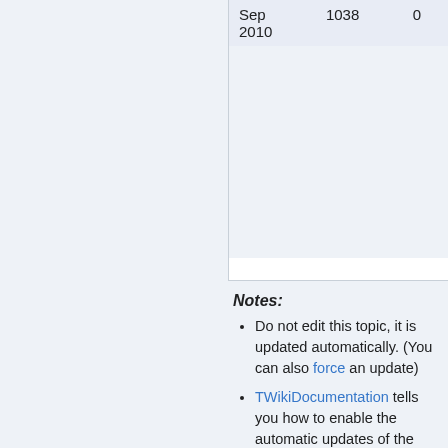| Sep
2010 | 1038 | 0 |
Notes:
Do not edit this topic, it is updated automatically. (You can also force an update)
TWikiDocumentation tells you how to enable the automatic updates of the statistics.
Suggestion: You could archive this topic once a